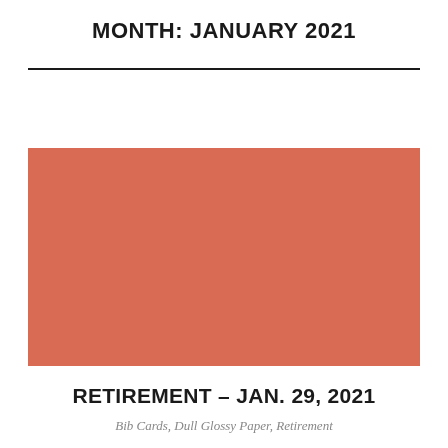MONTH: JANUARY 2021
[Figure (illustration): Solid salmon/coral colored rectangle, serving as a image placeholder for the month of January 2021.]
RETIREMENT – JAN. 29, 2021
Bib Cards, Dull Glossy Paper, Retirement